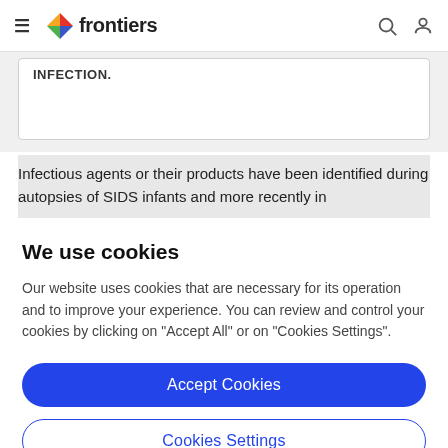frontiers
INFECTION.
Infectious agents or their products have been identified during autopsies of SIDS infants and more recently in
We use cookies
Our website uses cookies that are necessary for its operation and to improve your experience. You can review and control your cookies by clicking on "Accept All" or on "Cookies Settings".
Accept Cookies
Cookies Settings